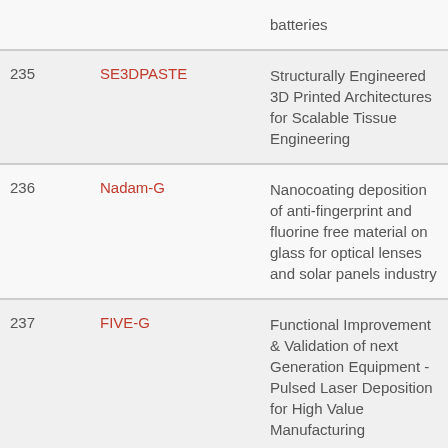| # | Code | Description |
| --- | --- | --- |
|  |  | batteries |
| 235 | SE3DPASTE | Structurally Engineered 3D Printed Architectures for Scalable Tissue Engineering |
| 236 | Nadam-G | Nanocoating deposition of anti-fingerprint and fluorine free material on glass for optical lenses and solar panels industry |
| 237 | FIVE-G | Functional Improvement & Validation of next Generation Equipment - Pulsed Laser Deposition for High Value Manufacturing |